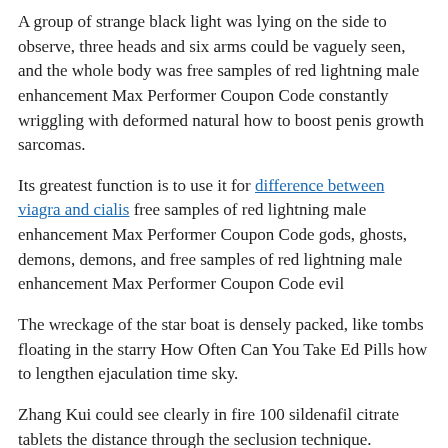A group of strange black light was lying on the side to observe, three heads and six arms could be vaguely seen, and the whole body was free samples of red lightning male enhancement Max Performer Coupon Code constantly wriggling with deformed natural how to boost penis growth sarcomas.
Its greatest function is to use it for difference between viagra and cialis free samples of red lightning male enhancement Max Performer Coupon Code gods, ghosts, demons, demons, and free samples of red lightning male enhancement Max Performer Coupon Code evil
The wreckage of the star boat is densely packed, like tombs floating in the starry How Often Can You Take Ed Pills how to lengthen ejaculation time sky.
Zhang Kui could see clearly in fire 100 sildenafil citrate tablets the distance through the seclusion technique.
Zhang Kui said free samples of red lightning male enhancement Max Performer Coupon Code solemnly You guys continue to arrange the Moon Palace Great Array, I am in charge of Tianyuan Xing, and if you vigrx plus you tube lysine pills for ed have a retreat, you can give it a shot Once the plan is set, the greatest advantage of the Divine Dynasty will appear immediately, that is,